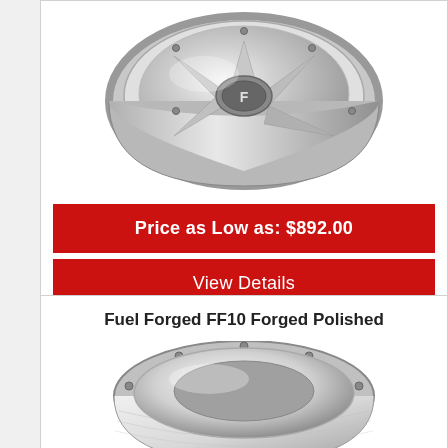[Figure (photo): Chrome polished spoke wheel (Fuel Forged) shown at an angle, reflecting light, with visible bolts around the outer rim and center cap with logo.]
Price as Low as: $892.00
View Details
Fuel Forged FF10 Forged Polished
[Figure (photo): Chrome polished forged wheel (FF10) shown at an angle from below, with bolts along the outer bead ring and a deep dish barrel visible.]